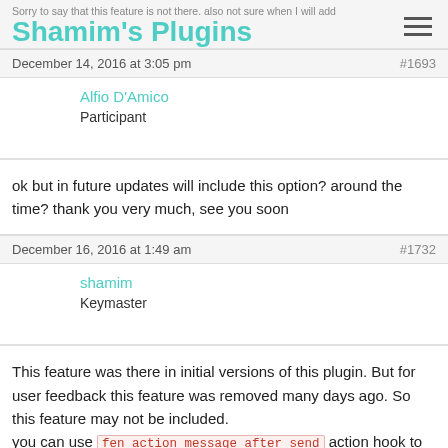Sorry to say that this feature is not there. also not sure when I will add
Shamim's Plugins
December 14, 2016 at 3:05 pm  #1693
Alfio D'Amico
Participant
ok but in future updates will include this option? around the time? thank you very much, see you soon
December 16, 2016 at 1:49 am  #1732
shamim
Keymaster
This feature was there in initial versions of this plugin. But for user feedback this feature was removed many days ago. So this feature may not be included.
you can use  fen_action_message_after_send  action hook to send